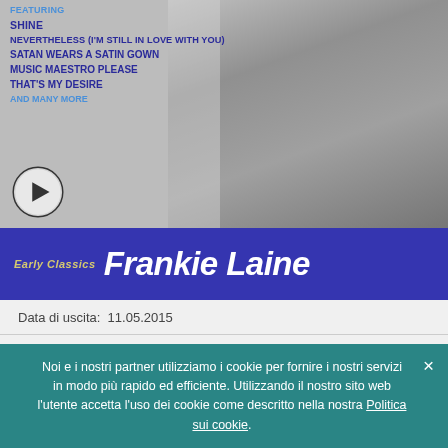[Figure (photo): Album cover for Frankie Laine Early Classics. Black and white photo of a man in a suit looking upward. Blue banner with album title and artist name. Track listing on the left side.]
FEATURING
SHINE
NEVERTHELESS (I'M STILL IN LOVE WITH YOU)
SATAN WEARS A SATIN GOWN
MUSIC MAESTRO PLEASE
THAT'S MY DESIRE
AND MANY MORE
Data di uscita:  11.05.2015
Case discografiche:  Spectrum
Noi e i nostri partner utilizziamo i cookie per fornire i nostri servizi in modo più rapido ed efficiente. Utilizzando il nostro sito web l'utente accetta l'uso dei cookie come descritto nella nostra Politica sui cookie.